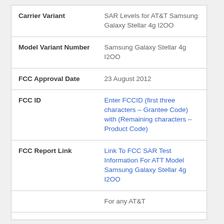| Field | Value |
| --- | --- |
| Carrier Variant | SAR Levels for AT&T Samsung Galaxy Stellar 4g I2OO |
| Model Variant Number | Samsung Galaxy Stellar 4g I2OO |
| FCC Approval Date | 23 August 2012 |
| FCC ID | Enter FCCID (first three characters – Grantee Code) with (Remaining characters – Product Code) |
| FCC Report Link | Link To FCC SAR Test Information For ATT Model Samsung Galaxy Stellar 4g I2OO |
|  | For any AT&T |